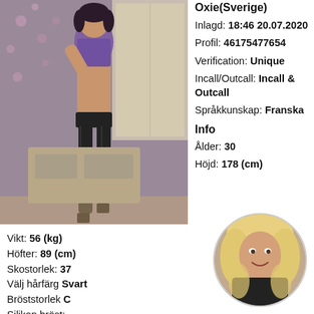[Figure (photo): Full body photo of a woman in purple lingerie and black stockings posing in a room with floral wallpaper]
Oxie(Sverige)
Inlagd: 18:46 20.07.2020
Profil: 46175477654
Verification: Unique
Incall/Outcall: Incall & Outcall
Språkkunskap: Franska
Info
Ålder: 30
Höjd: 178 (cm)
Vikt: 56 (kg)
Höfter: 89 (cm)
Skostorlek: 37
Välj hårfärg Svart
Bröststorlek C
Silikon bröst: -
Rakning Rakad: Ja
Rökare: Ja
[Figure (photo): Circular thumbnail photo of a blonde woman smiling, wearing black clothing]